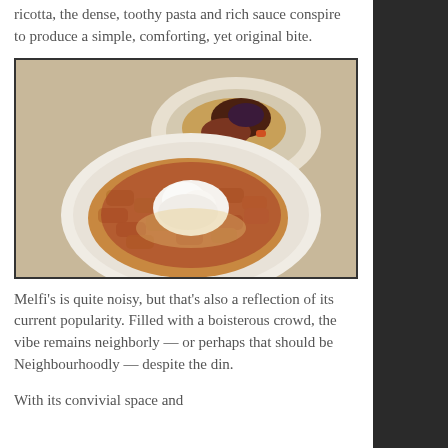ricotta, the dense, toothy pasta and rich sauce conspire to produce a simple, comforting, yet original bite.
[Figure (photo): Two plates of pasta on a white tablecloth. Foreground plate shows pasta with red meat sauce topped with a mound of white ricotta cheese and grated parmesan. Background plate shows pasta with a darker sauce and eggplant.]
Melfi’s is quite noisy, but that’s also a reflection of its current popularity. Filled with a boisterous crowd, the vibe remains neighborly — or perhaps that should be Neighbourhoodly — despite the din.
With its convivial space and